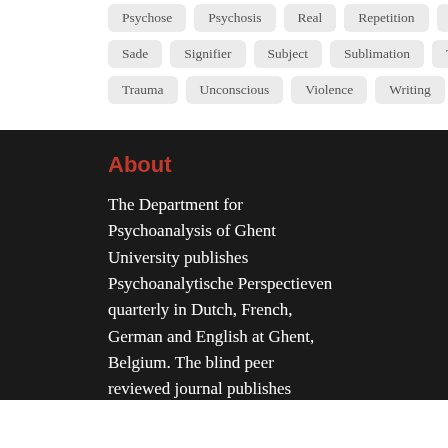Psychose
Psychosis
Real
Repetition
Repression
Sade
Signifier
Subject
Sublimation
Transference
Trauma
Unconscious
Violence
Writing
About
The Department for Psychoanalysis of Ghent University publishes Psychoanalytische Perspectieven quarterly in Dutch, French, German and English at Ghent, Belgium. The blind peer reviewed journal publishes original contributions to the theory, practice and applications of psychoanalysis.